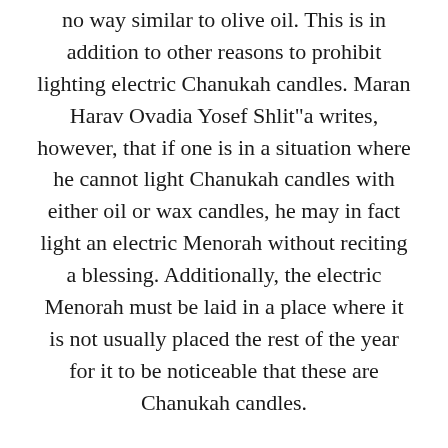no way similar to olive oil. This is in addition to other reasons to prohibit lighting electric Chanukah candles. Maran Harav Ovadia Yosef Shlit"a writes, however, that if one is in a situation where he cannot light Chanukah candles with either oil or wax candles, he may in fact light an electric Menorah without reciting a blessing. Additionally, the electric Menorah must be laid in a place where it is not usually placed the rest of the year for it to be noticeable that these are Chanukah candles.
We have already mentioned in the laws of lighting Shabbat candles that regarding the blessing of "Boreh Me'orei Ha'esh" on Motza'ei Shabbat, one must specifically use an open flame, as opposed to electric light which is